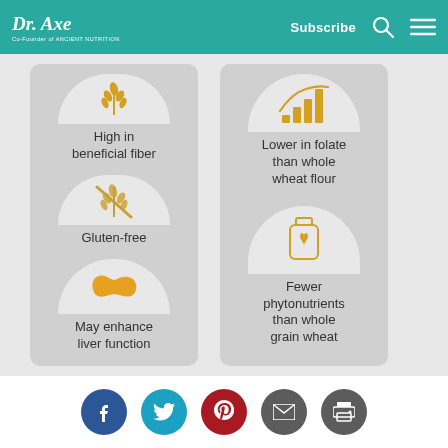Dr. Axe | Subscribe
[Figure (infographic): Left panel infographic with three semicircle icons and labels: 'High in beneficial fiber' (wheat/grain icon), 'Gluten-free' (wheat crossed out icon), 'May enhance liver function' (liver icon in gold)]
[Figure (infographic): Right panel infographic with two semicircle icons and labels: 'Lower in folate than whole wheat flour' (bar chart signal icon in gold), 'Fewer phytonutrients than whole grain wheat' (supplement bottle icon in gold)]
[Figure (infographic): Footer social share buttons: Facebook (blue), Twitter (light blue), Pinterest (red), Email (gray), Print (gray)]